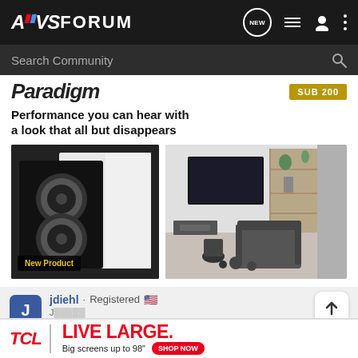AVS FORUM - navigation bar with NEW, list, user, and more icons
Search Community
[Figure (screenshot): Paradigm advertisement banner showing in-wall speakers and a modern living room. Text: Performance you can hear with a look that all but disappears. New Product badge shown on speaker image.]
jdiehl · Registered 🇺🇸
#5 · Dec
[Figure (advertisement): TCL advertisement bar: TCL | LIVE LARGE. Big screens up to 98" SHOP NOW]